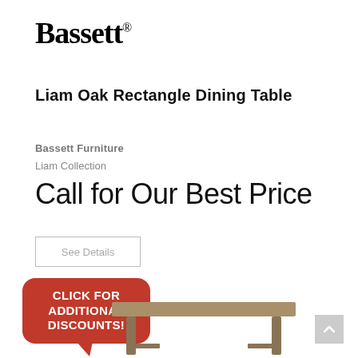[Figure (logo): Bassett brand logo in bold serif font with registered trademark symbol]
Liam Oak Rectangle Dining Table
Bassett Furniture
Liam Collection
Call for Our Best Price
See Details
[Figure (infographic): Red rounded rectangle badge with white bold text: CLICK FOR ADDITIONAL DISCOUNTS! with a downward pointing speech bubble tail]
[Figure (photo): Partial view of a Liam Oak Rectangle Dining Table in brown/tan finish with metal legs, shown from a slight angle]